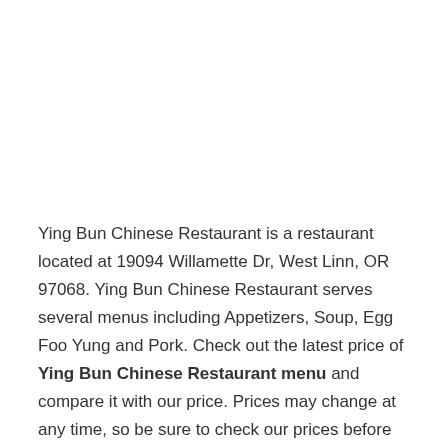Ying Bun Chinese Restaurant is a restaurant located at 19094 Willamette Dr, West Linn, OR 97068. Ying Bun Chinese Restaurant serves several menus including Appetizers, Soup, Egg Foo Yung and Pork. Check out the latest price of Ying Bun Chinese Restaurant menu and compare it with our price. Prices may change at any time, so be sure to check our prices before you order.
Ying Bun Chinese Restaurant Delivery